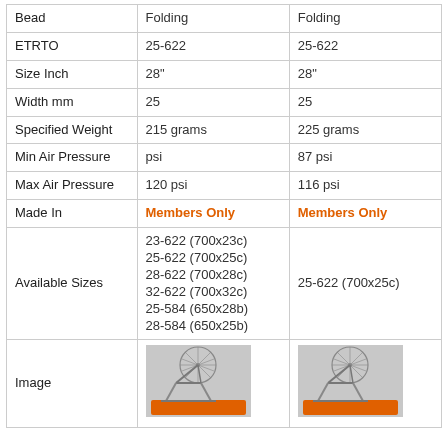|  | Column 1 | Column 2 |
| --- | --- | --- |
| Bead | Folding | Folding |
| ETRTO | 25-622 | 25-622 |
| Size Inch | 28" | 28" |
| Width mm | 25 | 25 |
| Specified Weight | 215 grams | 225 grams |
| Min Air Pressure | psi | 87 psi |
| Max Air Pressure | 120 psi | 116 psi |
| Made In | Members Only | Members Only |
| Available Sizes | 23-622 (700x23c)
25-622 (700x25c)
28-622 (700x28c)
32-622 (700x32c)
25-584 (650x28b)
28-584 (650x25b) | 25-622 (700x25c) |
| Image | [bike image] | [bike image] |